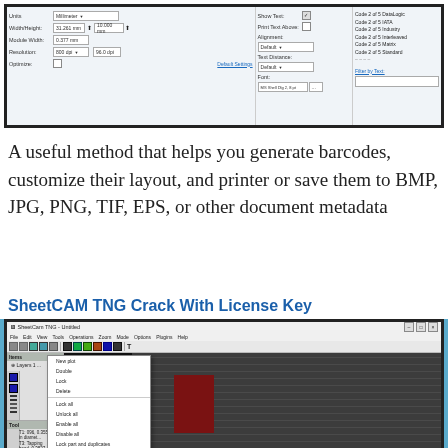[Figure (screenshot): Barcode generator software UI showing settings like Units (Millimeter), Width/Height, Module Width, Resolution (800 dpi), Optimize checkbox, Show Text checkbox, Print Text Above, Alignment (Default), Text Distance (Default), Font settings, and a list of barcode types including Code 2 of 5 DataLogic, Code 2 of 5 IATA, Code 2 of 5 Industry, Code 2 of 5 Interleaved, Code 2 of 5 Matrix, Code 2 of 5 Standard, Filter by Text field]
A useful method that helps you generate barcodes, customize their layout, and printer or save them to BMP, JPG, PNG, TIF, EPS, or other document metadata
SheetCAM TNG Crack With License Key
[Figure (screenshot): SheetCAM TNG software interface showing the main window with menu bar (File, Edit, View, Tools, Operations, Zoom, Mode, Options, Plugins, Help), toolbar with icons, left panel with layer tree and a right-click context menu showing options: New plot, Double, Lock, Delete, Lock all, Unlock all, Enable all, Disable all, Lock part and duplicates, Unlock part and duplicates, Enable part and duplicates, Disable part and duplicates, Properties, Break up manually ordered drawing, Job options. Main canvas shows a dark background with gray striped area and a dark red rectangle.]